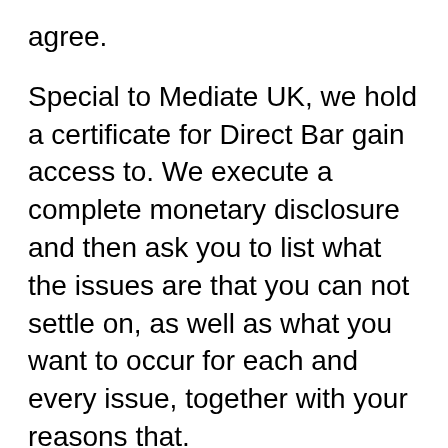agree.
Special to Mediate UK, we hold a certificate for Direct Bar gain access to. We execute a complete monetary disclosure and then ask you to list what the issues are that you can not settle on, as well as what you want to occur for each and every issue, together with your reasons that.
We after that send this report of to a professional however independent family law barrister, who writes a report on what the regulation is, just how it puts on your case and also, if you litigated, what would be a likely end result. In the last 4 years just about one instance (an exceptionally made complex one involving a severely handicapped child) have approved the